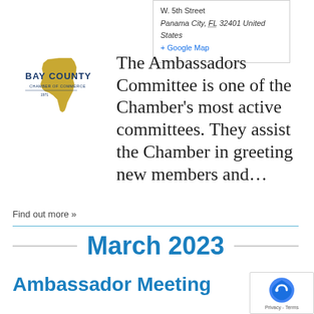W. 5th Street
Panama City, FL 32401 United States
+ Google Map
[Figure (logo): Bay County Chamber of Commerce logo with Florida state outline and gold/navy text]
The Ambassadors Committee is one of the Chamber's most active committees. They assist the Chamber in greeting new members and...
Find out more »
March 2023
Ambassador Meeting